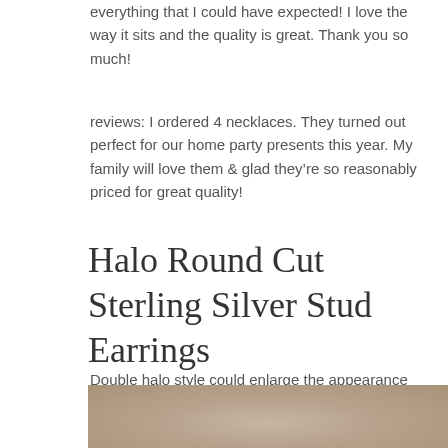everything that I could have expected! I love the way it sits and the quality is great. Thank you so much!
reviews: I ordered 4 necklaces. They turned out perfect for our home party presents this year. My family will love them & glad they're so reasonably priced for great quality!
Halo Round Cut Sterling Silver Stud Earrings
Double halo style could enlarge the appearance from view. What's more, your ear no need to bear too much weight!
[Figure (photo): Close-up photo of sterling silver stud earrings, partial view at bottom of page]